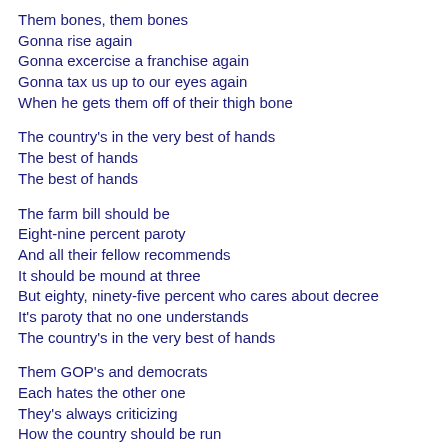Them bones, them bones
Gonna rise again
Gonna excercise a franchise again
Gonna tax us up to our eyes again
When he gets them off of their thigh bone
The country's in the very best of hands
The best of hands
The best of hands
The farm bill should be
Eight-nine percent paroty
And all their fellow recommends
It should be mound at three
But eighty, ninety-five percent who cares about decree
It's paroty that no one understands
The country's in the very best of hands
Them GOP's and democrats
Each hates the other one
They's always criticizing
How the country should be run